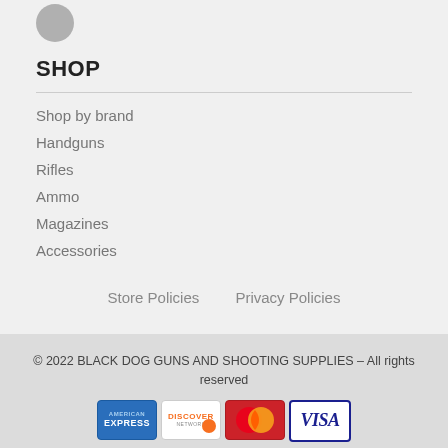[Figure (illustration): Partial circle/icon at top left, grey circular button]
SHOP
Shop by brand
Handguns
Rifles
Ammo
Magazines
Accessories
Store Policies   Privacy Policies
© 2022 BLACK DOG GUNS AND SHOOTING SUPPLIES – All rights reserved
[Figure (logo): Payment method logos: American Express, Discover, MasterCard, Visa]